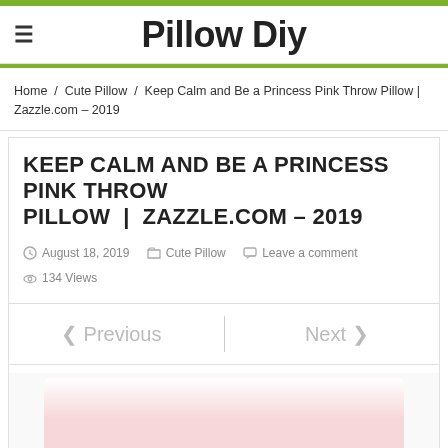Pillow Diy
Home / Cute Pillow / Keep Calm and Be a Princess Pink Throw Pillow | Zazzle.com – 2019
KEEP CALM AND BE A PRINCESS PINK THROW PILLOW | ZAZZLE.COM – 2019
August 18, 2019   Cute Pillow   Leave a comment   134 Views
< Previous | Next >
[Figure (photo): Pink throw pillow product image, partially visible at bottom of page]